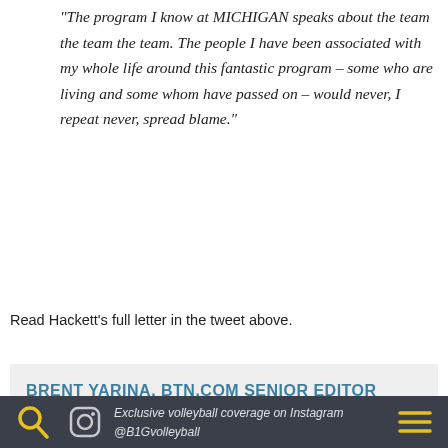"The program I know at MICHIGAN speaks about the team the team the team. The people I have been associated with my whole life around this fantastic program – some who are living and some whom have passed on – would never, I repeat never, spread blame."
Read Hackett's full letter in the tweet above.
BRENT YARINA, BTN.COM SENIOR EDITOR
BTN.com senior editor Brent Yarina covers football and men's basketball for BTN.com. Find all of his work here. Follow him on Twitter, too (@BTNBrentYarina). Looking for BTN on TV or tablet? Bookmark our TV schedule and BTN2Go event schedule.
Exclusive volleyball coverage on Instagram @B1Gvolleyball